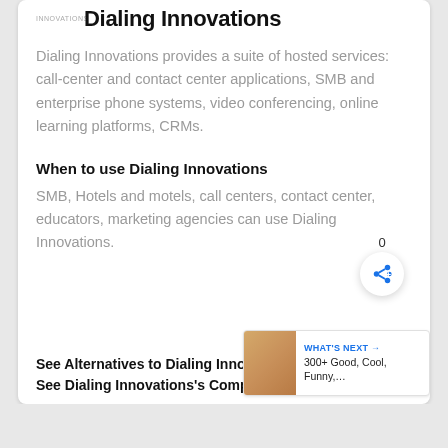Dialing Innovations
Dialing Innovations provides a suite of hosted services: call-center and contact center applications, SMB and enterprise phone systems, video conferencing, online learning platforms, CRMs.
When to use Dialing Innovations
SMB, Hotels and motels, call centers, contact center, educators, marketing agencies can use Dialing Innovations.
See Alternatives to Dialing Innovations
See Dialing Innovations's Competitors